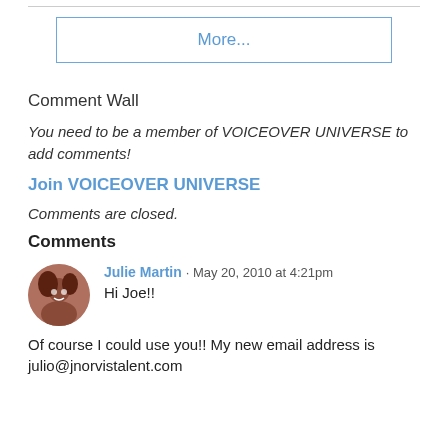More...
Comment Wall
You need to be a member of VOICEOVER UNIVERSE to add comments!
Join VOICEOVER UNIVERSE
Comments are closed.
Comments
Julie Martin · May 20, 2010 at 4:21pm
Hi Joe!!
Of course I could use you!! My new email address is julio@jnorvistalent.com